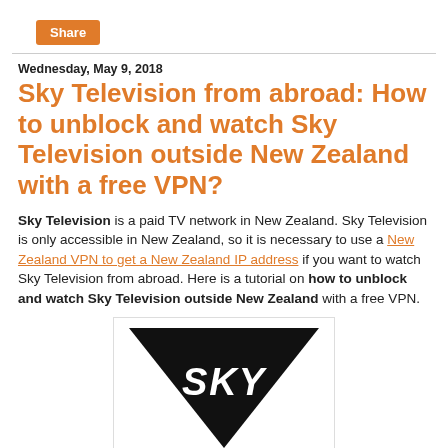Share
Wednesday, May 9, 2018
Sky Television from abroad: How to unblock and watch Sky Television outside New Zealand with a free VPN?
Sky Television is a paid TV network in New Zealand. Sky Television is only accessible in New Zealand, so it is necessary to use a New Zealand VPN to get a New Zealand IP address if you want to watch Sky Television from abroad. Here is a tutorial on how to unblock and watch Sky Television outside New Zealand with a free VPN.
[Figure (logo): Sky Television logo — white stylized 'SKY' text on a black downward-pointing triangle]